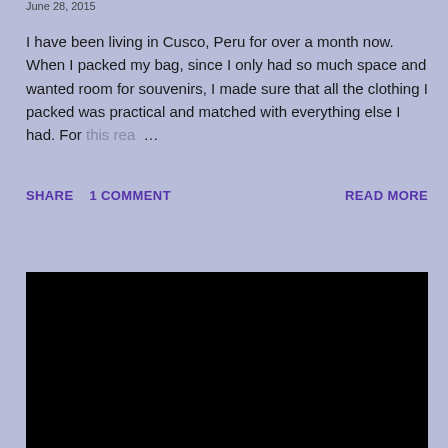June 28, 2015
I have been living in Cusco, Peru for over a month now. When I packed my bag, since I only had so much space and wanted room for souvenirs, I made sure that all the clothing I packed was practical and matched with everything else I had. For this rea…
SHARE   1 COMMENT   READ MORE
[Figure (photo): Black image / embedded video or photo placeholder]